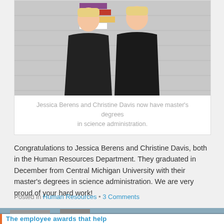[Figure (photo): Two people in black graduation gowns standing in front of a wall with colorful geometric shapes]
Jessica Berens and Christine Davis now have master's degrees in science administration.
Congratulations to Jessica Berens and Christine Davis, both in the Human Resources Department. They graduated in December from Central Michigan University with their master's degrees in science administration. We are very proud of your hard work!
Posted in Human Resources • 3 Comments
[Figure (photo): Partial image at bottom of page, appears to be an outdoor scene]